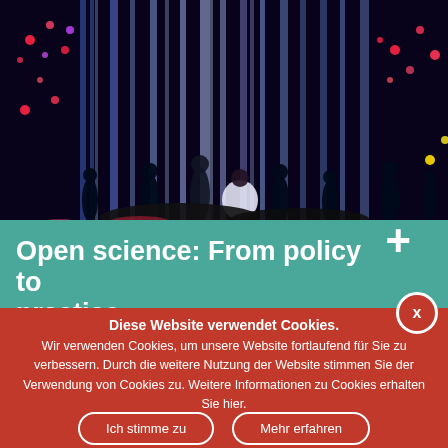[Figure (photo): Dark immersive digital art installation with silhouettes of people surrounded by flowing light streams in blue, purple, red and yellow colors resembling a waterfall with flowers]
Open science: From policy to practice
Diese Website verwendet Cookies.
Wir verwenden Cookies, um unsere Website fortlaufend für Sie zu verbessern. Durch die weitere Nutzung der Website stimmen Sie der Verwendung von Cookies zu. Weitere Informationen zu Cookies erhalten Sie hier.
Ich stimme zu
Mehr erfahren